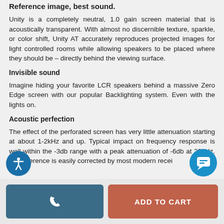Reference image, best sound.
Unity is a completely neutral, 1.0 gain screen material that is acoustically transparent. With almost no discernible texture, sparkle, or color shift, Unity AT accurately reproduces projected images for light controlled rooms while allowing speakers to be placed where they should be – directly behind the viewing surface.
Invisible sound
Imagine hiding your favorite LCR speakers behind a massive Zero Edge screen with our popular Backlighting system. Even with the lights on.
Acoustic perfection
The effect of the perforated screen has very little attenuation starting at about 1-2kHz and up. Typical impact on frequency response is well within the -3db range with a peak attenuation of -6db at 20kHz. This difference is easily corrected by most modern recei…